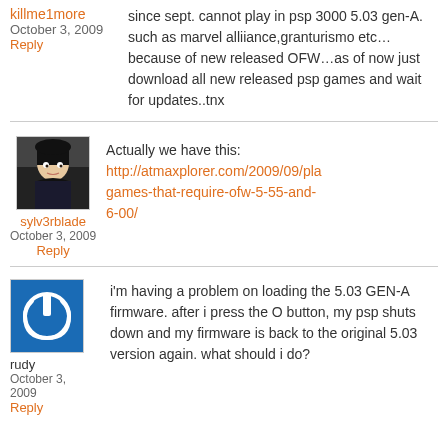killme1more
October 3, 2009
Reply
since sept. cannot play in psp 3000 5.03 gen-A. such as marvel alliiance,granturismo etc…because of new released OFW…as of now just download all new released psp games and wait for updates..tnx
sylv3rblade
October 3, 2009
Reply
Actually we have this: http://atmaxplorer.com/2009/09/pla games-that-require-ofw-5-55-and-6-00/
rudy
October 3, 2009
Reply
i'm having a problem on loading the 5.03 GEN-A firmware. after i press the O button, my psp shuts down and my firmware is back to the original 5.03 version again. what should i do?